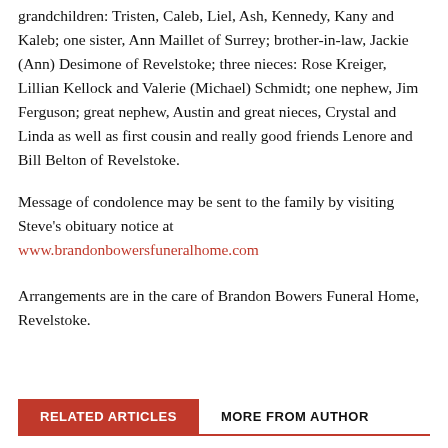grandchildren: Tristen, Caleb, Liel, Ash, Kennedy, Kany and Kaleb; one sister, Ann Maillet of Surrey; brother-in-law, Jackie (Ann) Desimone of Revelstoke; three nieces: Rose Kreiger, Lillian Kellock and Valerie (Michael) Schmidt; one nephew, Jim Ferguson; great nephew, Austin and great nieces, Crystal and Linda as well as first cousin and really good friends Lenore and Bill Belton of Revelstoke.
Message of condolence may be sent to the family by visiting Steve's obituary notice at www.brandonbowersfuneralhome.com
Arrangements are in the care of Brandon Bowers Funeral Home, Revelstoke.
RELATED ARTICLES   MORE FROM AUTHOR